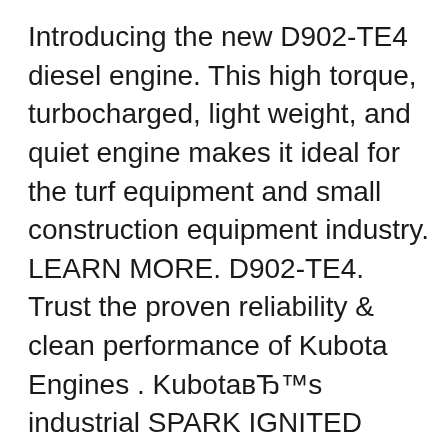Introducing the new D902-TE4 diesel engine. This high torque, turbocharged, light weight, and quiet engine makes it ideal for the turf equipment and small construction equipment industry. LEARN MORE. D902-TE4. Trust the proven reliability & clean performance of Kubota Engines . KubotaвЂ™s industrial SPARK IGNITED ENGINE LINE UP includes gasoline, LPG, Dual Fuel and Natural Gas versions Download Complete Service Repair Manual for Kubota V3300-E2B, V3300-T-E2B Diesel Engines. This Factory Service Repair Manual offers all the service and repair information about Kubota V3300-E2B, V3300-T-E2B Diesel Engines.